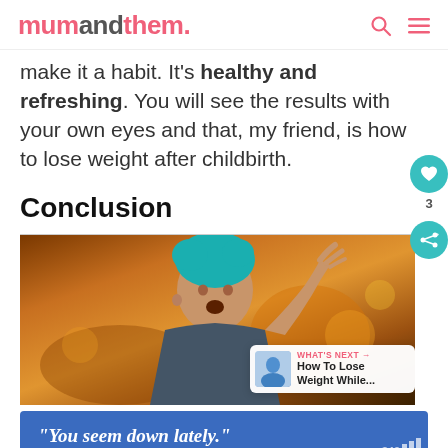mumandthem.
make it a habit. It's healthy and refreshing. You will see the results with your own eyes and that, my friend, is how to lose weight after childbirth.
Conclusion
[Figure (photo): Photo of a man with teal hair looking surprised, gesturing with hand raised, warm orange-brown background. Overlay shows 'WHAT'S NEXT → How To Lose Weight While...' badge.]
[Figure (infographic): Blue advertisement banner with italic white text: "You seem down lately."]